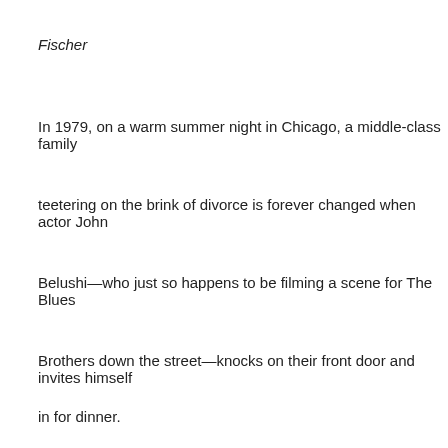Fischer
In 1979, on a warm summer night in Chicago, a middle-class family teetering on the brink of divorce is forever changed when actor John Belushi—who just so happens to be filming a scene for The Blues Brothers down the street—knocks on their front door and invites himself in for dinner.